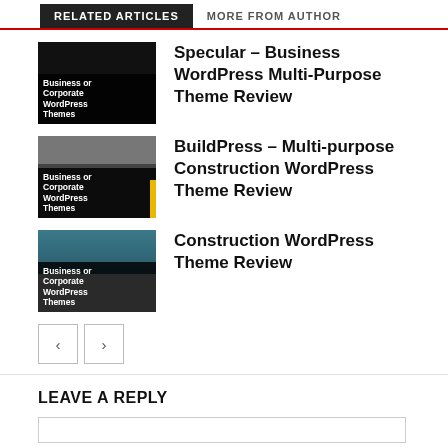RELATED ARTICLES | MORE FROM AUTHOR
Specular – Business WordPress Multi-Purpose Theme Review
[Figure (illustration): Thumbnail image with dark background and label 'Business or Corporate WordPress Themes']
BuildPress – Multi-purpose Construction WordPress Theme Review
[Figure (illustration): Thumbnail image with gray/dark background and label 'Business or Corporate WordPress Themes', with yellow bar accent]
Construction WordPress Theme Review
[Figure (illustration): Thumbnail image with teal/dark background and label 'Business or Corporate WordPress Themes']
LEAVE A REPLY